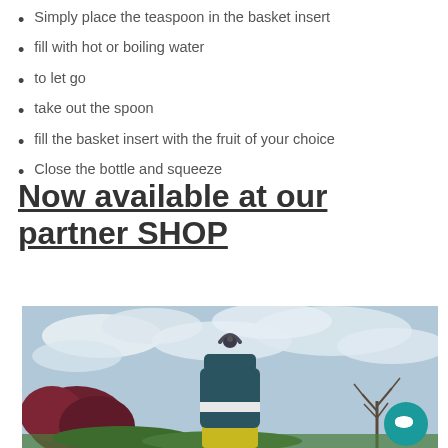Simply place the teaspoon in the basket insert
fill with hot or boiling water
to let go
take out the spoon
fill the basket insert with the fruit of your choice
Close the bottle and squeeze
Now available at our partner SHOP
[Figure (photo): A dark teal/grey water bottle with a basket insert and carry handle photographed outdoors against a cloudy sky, with trees and foliage visible in the background. A teal chat bubble icon is visible in the bottom right corner.]